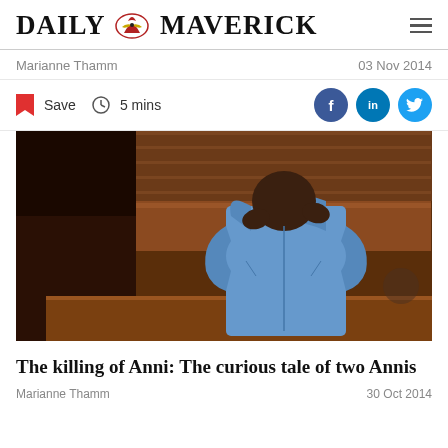DAILY MAVERICK
Marianne Thamm   03 Nov 2014
Save   5 mins
[Figure (photo): A man in a light blue shirt stands in what appears to be a courtroom with wooden panelling, raising his shirt collar to cover his face.]
The killing of Anni: The curious tale of two Annis
Marianne Thamm   30 Oct 2014